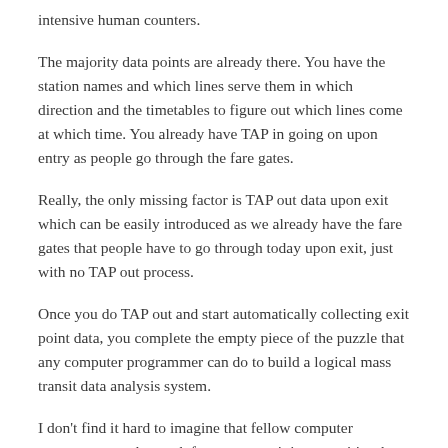intensive human counters.
The majority data points are already there. You have the station names and which lines serve them in which direction and the timetables to figure out which lines come at which time. You already have TAP in going on upon entry as people go through the fare gates.
Really, the only missing factor is TAP out data upon exit which can be easily introduced as we already have the fare gates that people have to go through today upon exit, just with no TAP out process.
Once you do TAP out and start automatically collecting exit point data, you complete the empty piece of the puzzle that any computer programmer can do to build a logical mass transit data analysis system.
I don't find it hard to imagine that fellow computer programmers who work for mass transit in most cities that operate under a TAP in and TAP out system how